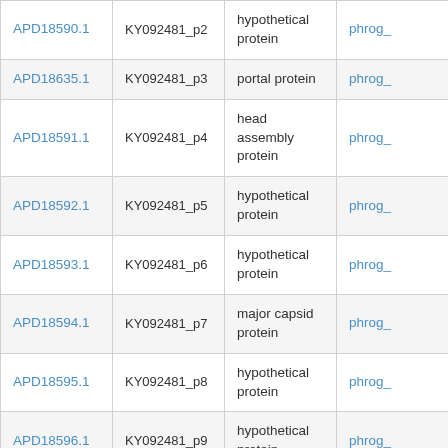| APD18590.1 | KY092481_p2 | hypothetical protein | phrog_ |
| APD18635.1 | KY092481_p3 | portal protein | phrog_ |
| APD18591.1 | KY092481_p4 | head assembly protein | phrog_ |
| APD18592.1 | KY092481_p5 | hypothetical protein | phrog_ |
| APD18593.1 | KY092481_p6 | hypothetical protein | phrog_ |
| APD18594.1 | KY092481_p7 | major capsid protein | phrog_ |
| APD18595.1 | KY092481_p8 | hypothetical protein | phrog_ |
| APD18596.1 | KY092481_p9 | hypothetical protein | phrog_ |